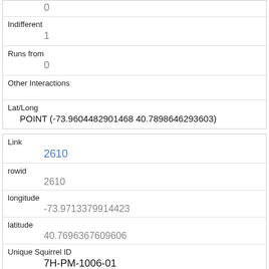| (top partial row) | 0 |
| Indifferent | 1 |
| Runs from | 0 |
| Other Interactions |  |
| Lat/Long | POINT (-73.9604482901468 40.7898646293603) |
| Link | 2610 |
| rowid | 2610 |
| longitude | -73.9713379914423 |
| latitude | 40.7696367609606 |
| Unique Squirrel ID | 7H-PM-1006-01 |
| Hectare |  |